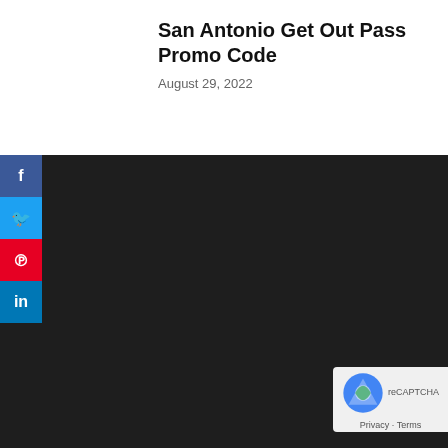San Antonio Get Out Pass Promo Code
August 29, 2022
[Figure (other): Social media sharing sidebar with Facebook, Twitter, Pinterest, and LinkedIn buttons on the left side, and a dark background area representing embedded content]
Privacy · Terms